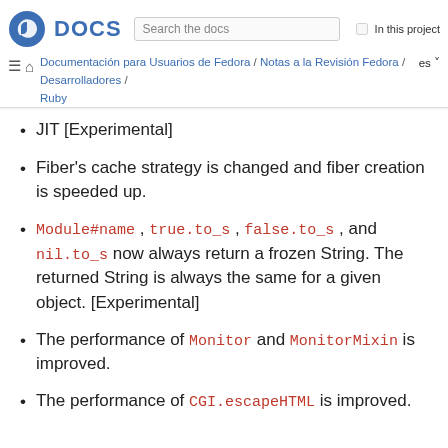Fedora DOCS — Search the docs — In this project — Documentación para Usuarios de Fedora / Notas a la Revisión Fedora / Desarrolladores / Ruby — es
JIT [Experimental]
Fiber's cache strategy is changed and fiber creation is speeded up.
Module#name, true.to_s, false.to_s, and nil.to_s now always return a frozen String. The returned String is always the same for a given object. [Experimental]
The performance of Monitor and MonitorMixin is improved.
The performance of CGI.escapeHTML is improved.